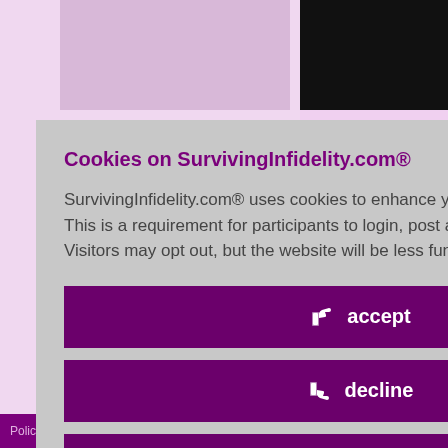Cookies on SurvivingInfidelity.com®
SurvivingInfidelity.com® uses cookies to enhance your visit to our website. This is a requirement for participants to login, post and use other features. Visitors may opt out, but the website will be less functional for you.
accept
decline
about cookies
id 8517640
y, February 29th,
otional weight are at this point
Policy